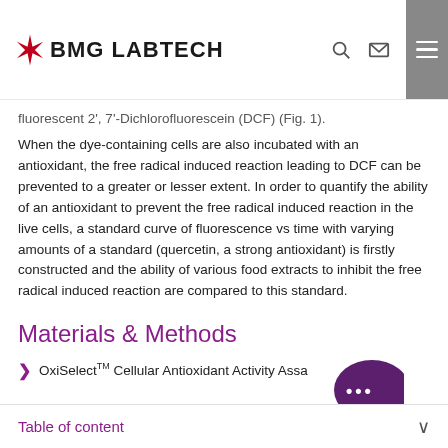BMG LABTECH
fluorescent 2', 7'-Dichlorofluorescein (DCF) (Fig. 1).
When the dye-containing cells are also incubated with an antioxidant, the free radical induced reaction leading to DCF can be prevented to a greater or lesser extent. In order to quantify the ability of an antioxidant to prevent the free radical induced reaction in the live cells, a standard curve of fluorescence vs time with varying amounts of a standard (quercetin, a strong antioxidant) is firstly constructed and the ability of various food extracts to inhibit the free radical induced reaction are compared to this standard.
Materials & Methods
OxiSelectTM Cellular Antioxidant Activity Assa...
Table of content